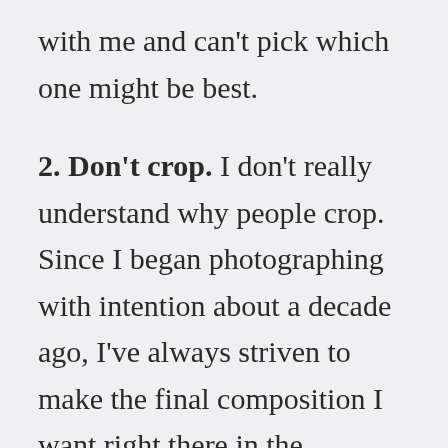with me and can't pick which one might be best.
2. Don't crop. I don't really understand why people crop. Since I began photographing with intention about a decade ago, I've always striven to make the final composition I want right there in the viewfinder or screen when I'm taking the